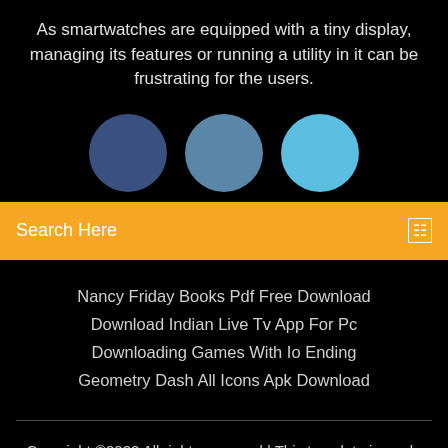As smartwatches are equipped with a tiny display, managing its features or running a utility in it can be frustrating for the users.
[Figure (illustration): Three circles in shades of blue arranged horizontally: dark navy blue on left, medium steel blue in center, bright sky blue on right.]
Search Here
Nancy Friday Books Pdf Free Download
Download Indian Live Tv App For Pc
Downloading Games With Io Ending
Geometry Dash All Icons Apk Download
Copyright ©2022 All rights reserved | This template is made with  by Colorlib